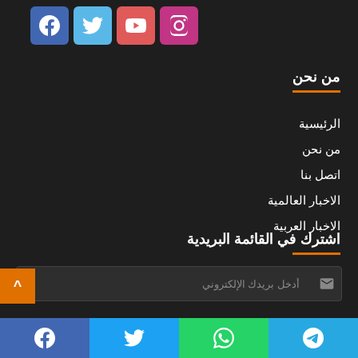[Figure (infographic): Social media icon buttons: Instagram (pink), YouTube (red), Twitter (light blue), Facebook (blue)]
من نحن
الرئيسية
من نحن
اتصل بنا
الاخبار العالمية
الاخبار العربية
اشترك في القائمة البريدية
أدخل بريدك الإلكتروني
[Figure (infographic): Bottom social share bar with Telegram, WhatsApp, Twitter, Facebook icons]